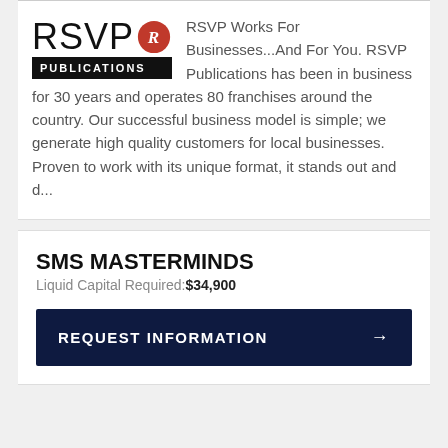[Figure (logo): RSVP Publications logo with red wax seal badge]
RSVP Works For Businesses...And For You. RSVP Publications has been in business for 30 years and operates 80 franchises around the country. Our successful business model is simple; we generate high quality customers for local businesses. Proven to work with its unique format, it stands out and d...
SMS MASTERMINDS
Liquid Capital Required: $34,900
REQUEST INFORMATION →